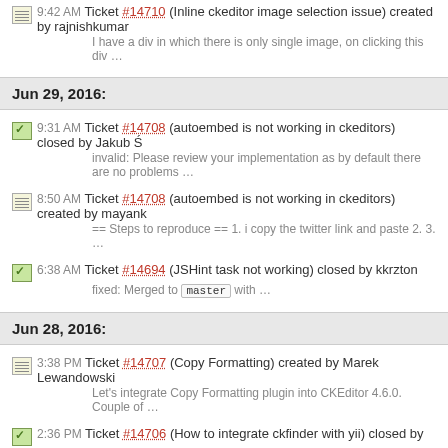9:42 AM Ticket #14710 (Inline ckeditor image selection issue) created by rajnishkumar
I have a div in which there is only single image, on clicking this div …
Jun 29, 2016:
9:31 AM Ticket #14708 (autoembed is not working in ckeditors) closed by Jakub Ś
invalid: Please review your implementation as by default there are no problems …
8:50 AM Ticket #14708 (autoembed is not working in ckeditors) created by mayank
== Steps to reproduce == 1. i copy the twitter link and paste 2. 3. …
6:38 AM Ticket #14694 (JSHint task not working) closed by kkrzton
fixed: Merged to master with …
Jun 28, 2016:
3:38 PM Ticket #14707 (Copy Formatting) created by Marek Lewandowski
Let's integrate Copy Formatting plugin into CKEditor 4.6.0. Couple of …
2:36 PM Ticket #14706 (How to integrate ckfinder with yii) closed by